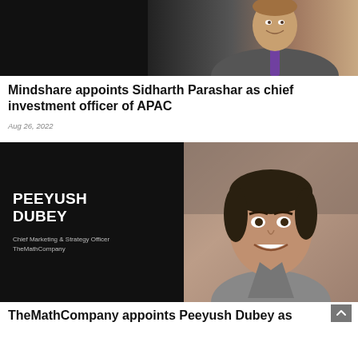[Figure (photo): Professional headshot of Sidharth Parashar in a dark suit with overlay text reading 'Chief Investment Officer of APAC Mindshare' on dark background]
Mindshare appoints Sidharth Parashar as chief investment officer of APAC
Aug 26, 2022
[Figure (photo): Split image: left dark panel with bold white text 'PEEYUSH DUBEY' and subtitle 'Chief Marketing & Strategy Officer TheMathCompany'; right panel shows professional headshot of Peeyush Dubey smiling]
TheMathCompany appoints Peeyush Dubey as